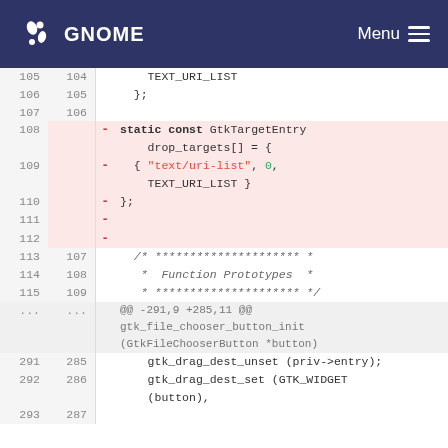GNOME  Menu
Code diff view showing lines 105-115 (context) and lines 108-112 (removed), plus lines 291-293 and 285-287 below
[Figure (screenshot): GNOME documentation page showing a code diff for a C source file. Lines 105-106 show TEXT_URI_LIST and closing brace. Lines 108-112 (highlighted pink/removed) show static const GtkTargetEntry drop_targets[] = { {"text/uri-list", 0, TEXT_URI_LIST } };. Lines 113-115 show comment block with Function Prototypes. A hunk header @@ -291,9 +285,11 @@ gtk_file_chooser_button_init(GtkFileChooserButton *button). Lines 291-292 show gtk_drag_dest_unset and gtk_drag_dest_set calls.]